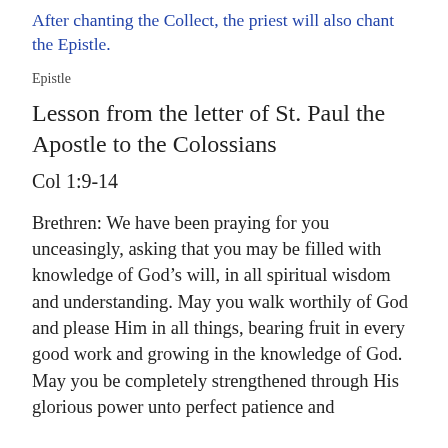After chanting the Collect, the priest will also chant the Epistle.
Epistle
Lesson from the letter of St. Paul the Apostle to the Colossians
Col 1:9-14
Brethren: We have been praying for you unceasingly, asking that you may be filled with knowledge of God’s will, in all spiritual wisdom and understanding. May you walk worthily of God and please Him in all things, bearing fruit in every good work and growing in the knowledge of God. May you be completely strengthened through His glorious power unto perfect patience and